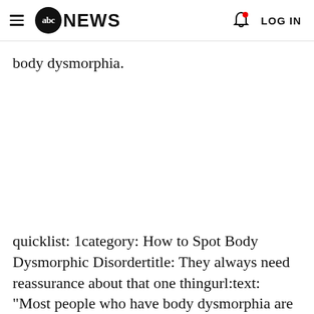abc NEWS  LOG IN
body dysmorphia.
quicklist: 1category: How to Spot Body Dysmorphic Disordertitle: They always need reassurance about that one thingurl:text: "Most people who have body dysmorphia are